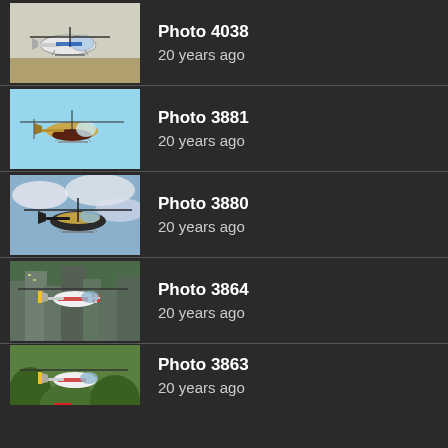Photo 4038
20 years ago
Photo 3881
20 years ago
Photo 3880
20 years ago
Photo 3864
20 years ago
Photo 3863
20 years ago